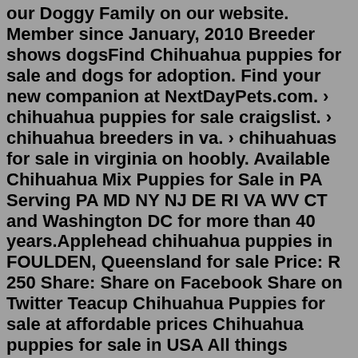our Doggy Family on our website. Member since January, 2010 Breeder shows dogsFind Chihuahua puppies for sale and dogs for adoption. Find your new companion at NextDayPets.com. › chihuahua puppies for sale craigslist. › chihuahua breeders in va. › chihuahuas for sale in virginia on hoobly. Available Chihuahua Mix Puppies for Sale in PA Serving PA MD NY NJ DE RI VA WV CT and Washington DC for more than 40 years.Applehead chihuahua puppies in FOULDEN, Queensland for sale Price: R 250 Share: Share on Facebook Share on Twitter Teacup Chihuahua Puppies for sale at affordable prices Chihuahua puppies for sale in USA All things considered, mingled white Chihuahua puppies for sale near me both male and female young chihuahuas are ready to move in the best condition. Applehead chihuahua puppies in FOULDEN, Queensland for sale Price: R 250 Share: Share on Facebook Share on Twitter Buy Chihuahua in Europe. Kup szczeniaka Chihuahua w Polsce. Acheter Chihuahua en France However, my passion is to produce intelligent